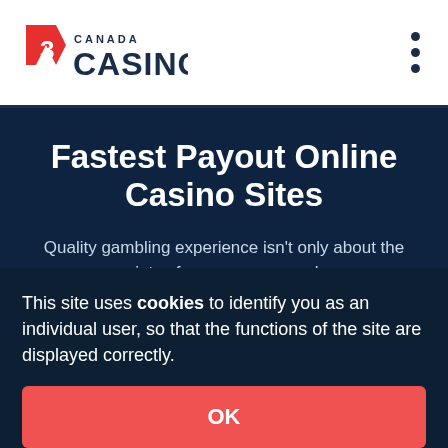[Figure (logo): R3 Canada Casino logo with red angular R3 mark and dark blue CANADA CASINO text]
Fastest Payout Online Casino Sites
Quality gambling experience isn’t only about the variety of games you can play
This site uses cookies to identify you as an individual user, so that the functions of the site are displayed correctly.
OK